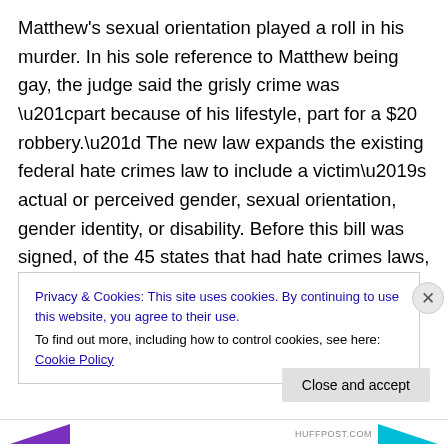Matthew's sexual orientation played a roll in his murder. In his sole reference to Matthew being gay, the judge said the grisly crime was “part because of his lifestyle, part for a $20 robbery.” The new law expands the existing federal hate crimes law to include a victim’s actual or perceived gender, sexual orientation, gender identity, or disability. Before this bill was signed, of the 45 states that had hate crimes laws, only 32 included sexual orientation and 11 included gender identity.
Privacy & Cookies: This site uses cookies. By continuing to use this website, you agree to their use. To find out more, including how to control cookies, see here: Cookie Policy